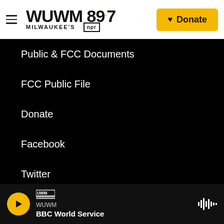WUWM 89.7 MILWAUKEE'S NPR — Donate
Public & FCC Documents
FCC Public File
Donate
Facebook
Twitter
Instagram
WUWM — BBC World Service